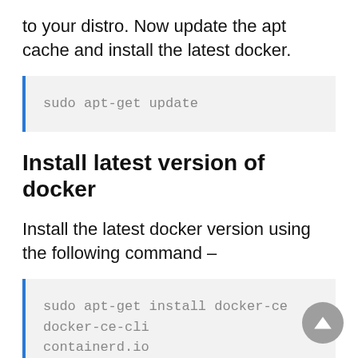to your distro. Now update the apt cache and install the latest docker.
[Figure (screenshot): Code block with blue left border on grey background showing: sudo apt-get update]
Install latest version of docker
Install the latest docker version using the following command –
[Figure (screenshot): Code block with blue left border on grey background showing: sudo apt-get install docker-ce docker-ce-cli containerd.io]